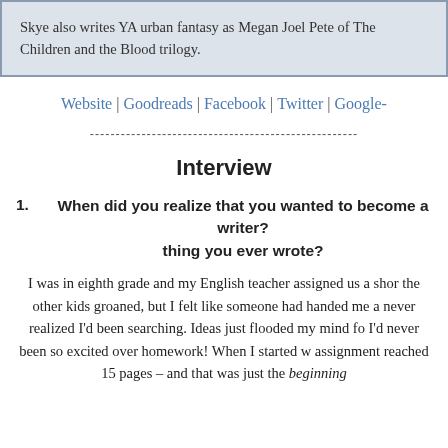Skye also writes YA urban fantasy as Megan Joel Pete of The Children and the Blood trilogy.
Website | Goodreads | Facebook | Twitter | Google-
------------------------------------------------------------
Interview
1. When did you realize that you wanted to become a writer? thing you ever wrote?
I was in eighth grade and my English teacher assigned us a shor the other kids groaned, but I felt like someone had handed me a never realized I'd been searching. Ideas just flooded my mind fo I'd never been so excited over homework! When I started w assignment reached 15 pages – and that was just the beginning